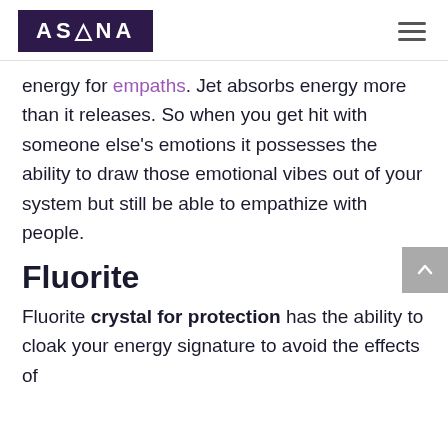ASANA
energy for empaths. Jet absorbs energy more than it releases. So when you get hit with someone else's emotions it possesses the ability to draw those emotional vibes out of your system but still be able to empathize with people.
Fluorite
Fluorite crystal for protection has the ability to cloak your energy signature to avoid the effects of